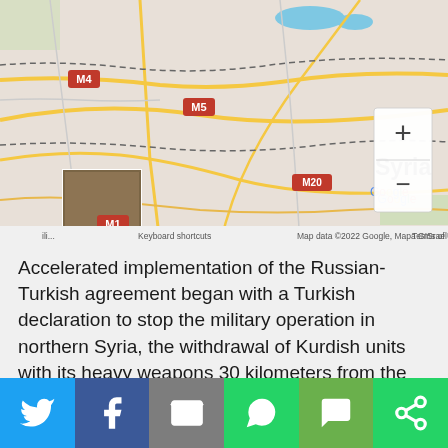[Figure (map): Google Maps screenshot showing northern Syria with roads M4, M5, M20, M1 labeled, Syria country label, Google branding, zoom controls, and keyboard shortcuts/map data attribution bar at bottom.]
Accelerated implementation of the Russian-Turkish agreement began with a Turkish declaration to stop the military operation in northern Syria, the withdrawal of Kurdish units with its heavy weapons 30 kilometers from the border takes 150 hours time limit with the help of Russian military police and Syrian border guards.
[Figure (infographic): Social media share bar with Twitter (blue), Facebook (dark blue), Email (gray), WhatsApp (green), SMS (green), and More (green) buttons.]